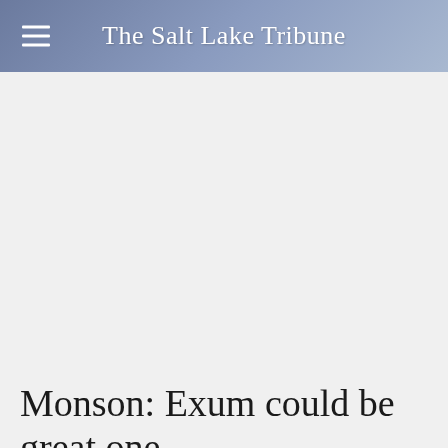The Salt Lake Tribune
[Figure (other): Advertisement placeholder area, light gray background]
Monson: Exum could be great one